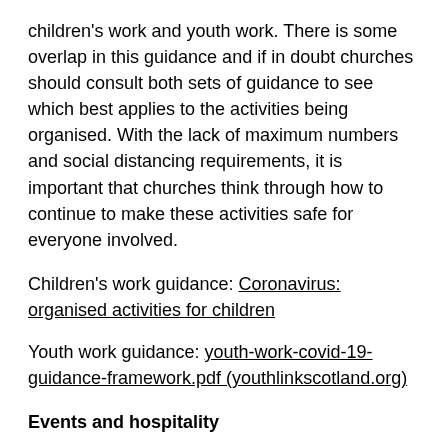children's work and youth work. There is some overlap in this guidance and if in doubt churches should consult both sets of guidance to see which best applies to the activities being organised. With the lack of maximum numbers and social distancing requirements, it is important that churches think through how to continue to make these activities safe for everyone involved.
Children's work guidance: Coronavirus: organised activities for children
Youth work guidance: youth-work-covid-19-guidance-framework.pdf (youthlinkscotland.org)
Events and hospitality
Churches considering running outdoor events or services over summer can now have up to 2,000 people attending (2,000 seated, 1,000 limit for standing). The live events guidance has now also been updated and contains